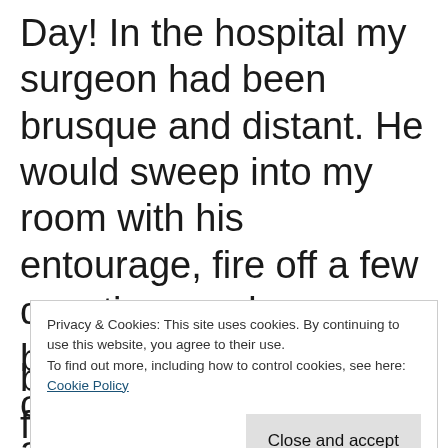Day! In the hospital my surgeon had been brusque and distant. He would sweep into my room with his entourage, fire off a few questions and sweep back out again. One on one, he was charming and funny and ready to answer any and all questions. He really did use a
Privacy & Cookies: This site uses cookies. By continuing to use this website, you agree to their use. To find out more, including how to control cookies, see here: Cookie Policy
Close and accept
back hours later when I finally